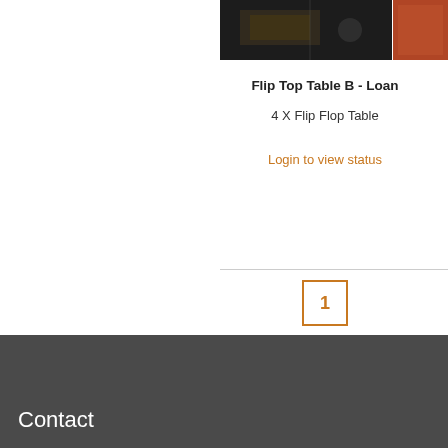[Figure (photo): Partial photo of a flip top table, dark background with equipment visible]
Flip Top Table B - Loan
4 X Flip Flop Table
Login to view status
1
Contact